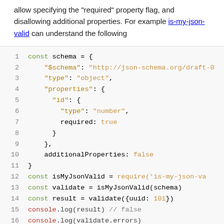allow specifying the "required" property flag, and disallowing additional properties. For example is-my-json-valid can understand the following
[Figure (screenshot): Code block showing a JavaScript JSON schema definition and validation example using is-my-json-valid, with syntax highlighting. Lines 1-16 visible.]